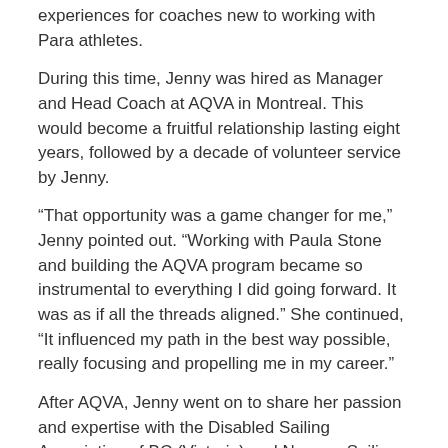experiences for coaches new to working with Para athletes.
During this time, Jenny was hired as Manager and Head Coach at AQVA in Montreal. This would become a fruitful relationship lasting eight years, followed by a decade of volunteer service by Jenny.
“That opportunity was a game changer for me,” Jenny pointed out. “Working with Paula Stone and building the AQVA program became so instrumental to everything I did going forward. It was as if all the threads aligned.” She continued, “It influenced my path in the best way possible, really focusing and propelling me in my career.”
After AQVA, Jenny went on to share her passion and expertise with the Disabled Sailing Association of BC (Victoria) and Nepean Sailing Club AbleSail programs. She became more involved with AbleSail Network, including serving on the national board of directors and continues to contribute her expertise and advice to the organization.